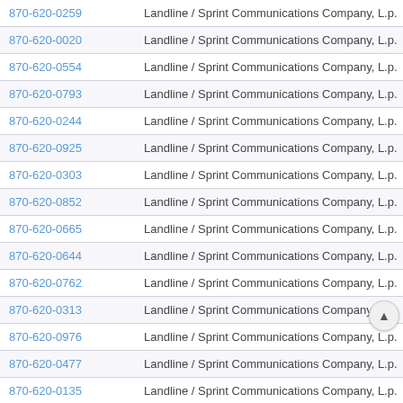| Phone | Type / Carrier | Code |
| --- | --- | --- |
| 870-620-0259 | Landline / Sprint Communications Company, L.p. | 870620 |
| 870-620-0020 | Landline / Sprint Communications Company, L.p. | 870620 |
| 870-620-0554 | Landline / Sprint Communications Company, L.p. | 870620 |
| 870-620-0793 | Landline / Sprint Communications Company, L.p. | 870620 |
| 870-620-0244 | Landline / Sprint Communications Company, L.p. | 870620 |
| 870-620-0925 | Landline / Sprint Communications Company, L.p. | 870620 |
| 870-620-0303 | Landline / Sprint Communications Company, L.p. | 870620 |
| 870-620-0852 | Landline / Sprint Communications Company, L.p. | 870620 |
| 870-620-0665 | Landline / Sprint Communications Company, L.p. | 870620 |
| 870-620-0644 | Landline / Sprint Communications Company, L.p. | 870620 |
| 870-620-0762 | Landline / Sprint Communications Company, L.p. | 870620 |
| 870-620-0313 | Landline / Sprint Communications Company, L.p. | 870620 |
| 870-620-0976 | Landline / Sprint Communications Company, L.p. | 870620 |
| 870-620-0477 | Landline / Sprint Communications Company, L.p. | 870620 |
| 870-620-0135 | Landline / Sprint Communications Company, L.p. | ...620 |
| 870-620-0946 | Landline / Sprint Communications Company, L.p. | ...20 |
| 870-620-0209 | Landline / Sprint Communications Company, L.p. | 870620 |
| 870-620-0281 | Landline / Sprint Communications Company, L.p. | 870620 |